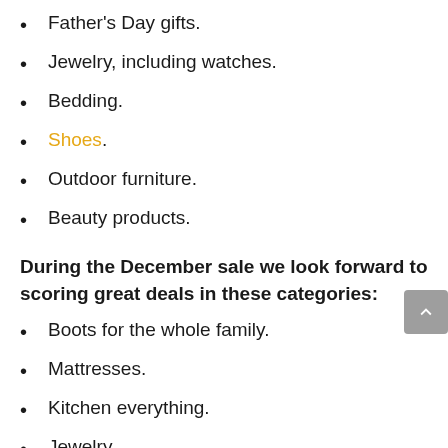Father's Day gifts.
Jewelry, including watches.
Bedding.
Shoes.
Outdoor furniture.
Beauty products.
During the December sale we look forward to scoring great deals in these categories:
Boots for the whole family.
Mattresses.
Kitchen everything.
Jewelry.
Sleepwear.